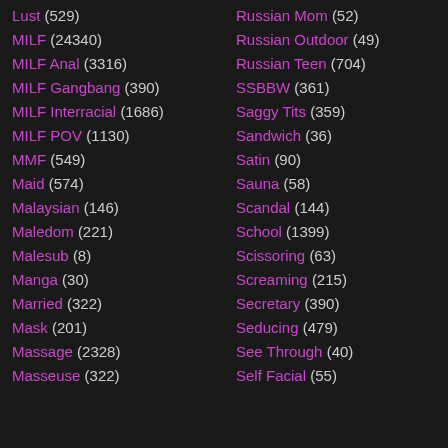Lust (529)
Russian Mom (52)
MILF (24340)
Russian Outdoor (49)
MILF Anal (3316)
Russian Teen (704)
MILF Gangbang (390)
SSBBW (361)
MILF Interracial (1686)
Saggy Tits (359)
MILF POV (1130)
Sandwich (36)
MMF (549)
Satin (90)
Maid (574)
Sauna (58)
Malaysian (146)
Scandal (144)
Maledom (221)
School (1399)
Malesub (8)
Scissoring (63)
Manga (30)
Screaming (215)
Married (322)
Secretary (390)
Mask (201)
Seducing (479)
Massage (2328)
See Through (40)
Masseuse (322)
Self Facial (55)